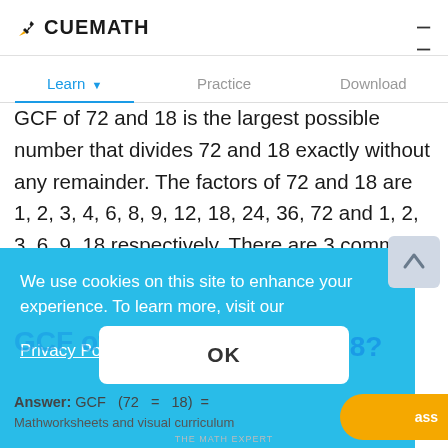CUEMATH
Learn   Practice   Download
GCF of 72 and 18 is the largest possible number that divides 72 and 18 exactly without any remainder. The factors of 72 and 18 are 1, 2, 3, 4, 6, 8, 9, 12, 18, 24, 36, 72 and 1, 2, 3, 6, 9, 18 respectively. There are 3 commonly used methods to find the GCF of 72 and 18 - long division, prime factorization, and Euclidean algorithm.
We use cookies on this site to enhance your experience. To learn more, visit our Privacy Policy
OK
GCF of 72 and 18?
Answer: GCF (72 = 18) =
Mathworksheets and visual curriculum